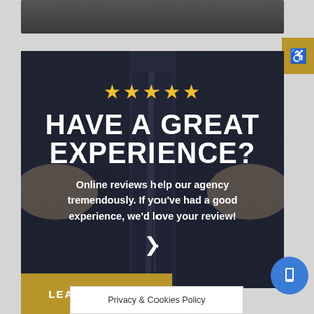[Figure (photo): Dark suit and tie person background image strip at top]
[Figure (illustration): Gold accessibility icon button top right]
[Figure (photo): Dark background photo of person in suit with overlaid text content]
HAVE A GREAT EXPERIENCE?
Online reviews help our agency tremendously. If you've had a good experience, we'd love your review!
LEAVE REVIEW
Privacy & Cookies Policy
[Figure (illustration): Blue circular phone/mobile icon button bottom right]